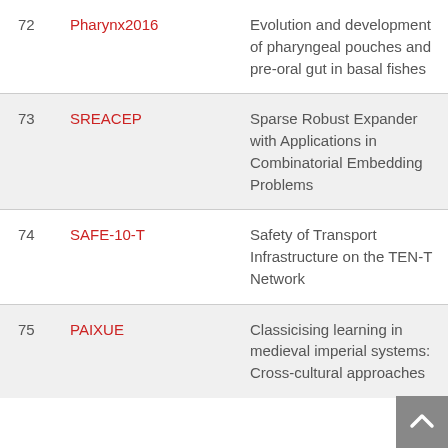| # | Code | Description |
| --- | --- | --- |
| 72 | Pharynx2016 | Evolution and development of pharyngeal pouches and pre-oral gut in basal fishes |
| 73 | SREACEP | Sparse Robust Expander with Applications in Combinatorial Embedding Problems |
| 74 | SAFE-10-T | Safety of Transport Infrastructure on the TEN-T Network |
| 75 | PAIXUE | Classicising learning in medieval imperial systems: Cross-cultural approaches |